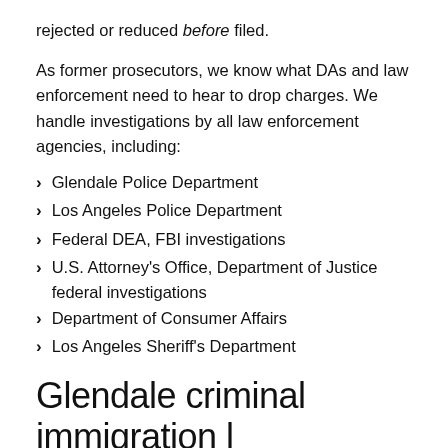rejected or reduced before filed.
As former prosecutors, we know what DAs and law enforcement need to hear to drop charges. We handle investigations by all law enforcement agencies, including:
Glendale Police Department
Los Angeles Police Department
Federal DEA, FBI investigations
U.S. Attorney's Office, Department of Justice federal investigations
Department of Consumer Affairs
Los Angeles Sheriff's Department
Glendale criminal immigration l